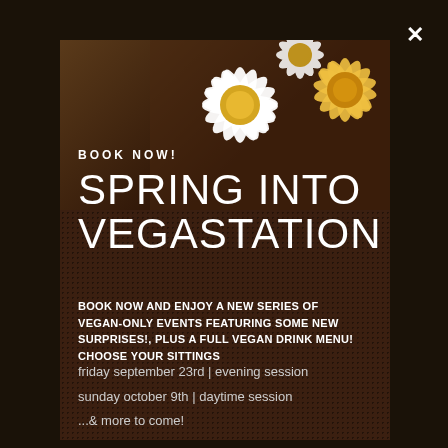[Figure (photo): Background photo of restaurant table with drinks, limes, and natural elements, heavily darkened/blurred]
[Figure (photo): Modal popup card with dark reddish-brown halftone textured background and white/yellow daisy flowers in upper right corner]
BOOK NOW!
SPRING INTO VEGASTATION
BOOK NOW AND ENJOY A NEW SERIES OF VEGAN-ONLY EVENTS FEATURING SOME NEW SURPRISES!, PLUS A FULL VEGAN DRINK MENU! CHOOSE YOUR SITTINGS
friday september 23rd | evening session
sunday october 9th | daytime session
...& more to come!
BOOK YOUR PLACE